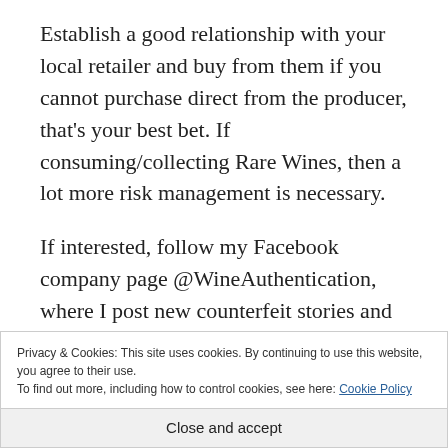Establish a good relationship with your local retailer and buy from them if you cannot purchase direct from the producer, that's your best bet. If consuming/collecting Rare Wines, then a lot more risk management is necessary.
If interested, follow my Facebook company page @WineAuthentication, where I post new counterfeit stories and anything relevant for
Privacy & Cookies: This site uses cookies. By continuing to use this website, you agree to their use.
To find out more, including how to control cookies, see here: Cookie Policy
Close and accept